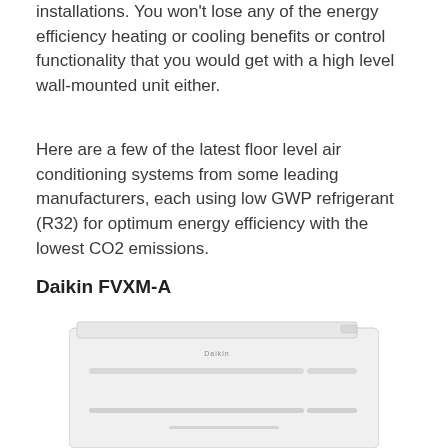installations. You won't lose any of the energy efficiency heating or cooling benefits or control functionality that you would get with a high level wall-mounted unit either.
Here are a few of the latest floor level air conditioning systems from some leading manufacturers, each using low GWP refrigerant (R32) for optimum energy efficiency with the lowest CO2 emissions.
Daikin FVXM-A
[Figure (photo): Photo of the Daikin FVXM-A floor-level air conditioning indoor unit, a white rectangular unit with horizontal vents/grilles on the front face, shown from a slight angle.]